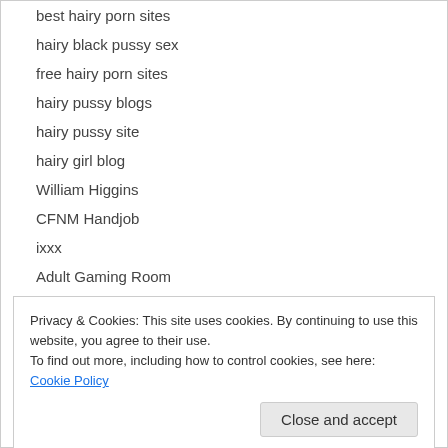best hairy porn sites
hairy black pussy sex
free hairy porn sites
hairy pussy blogs
hairy pussy site
hairy girl blog
William Higgins
CFNM Handjob
ixxx
Adult Gaming Room
porn.com
exxxtra small
Adult List
Adult Directory
Paid Porn Guide
Privacy & Cookies: This site uses cookies. By continuing to use this website, you agree to their use.
To find out more, including how to control cookies, see here: Cookie Policy